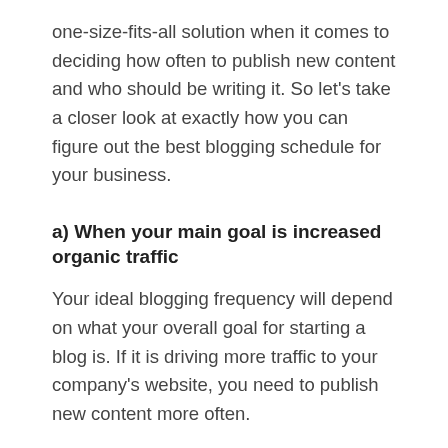one-size-fits-all solution when it comes to deciding how often to publish new content and who should be writing it. So let's take a closer look at exactly how you can figure out the best blogging schedule for your business.
a) When your main goal is increased organic traffic
Your ideal blogging frequency will depend on what your overall goal for starting a blog is. If it is driving more traffic to your company's website, you need to publish new content more often.
This is because it gives search engines like Google more opportunities to index and rank your website higher in search results. What this means is ultimately up to you and your resources, but blogging once or twice a week is